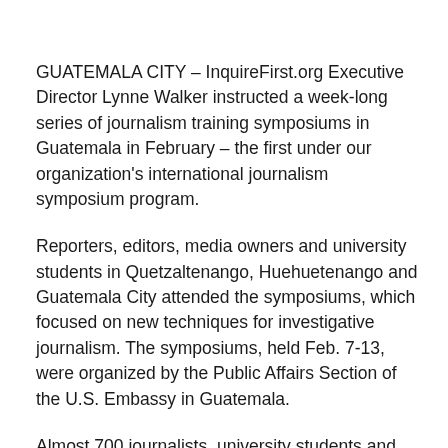GUATEMALA CITY – InquireFirst.org Executive Director Lynne Walker instructed a week-long series of journalism training symposiums in Guatemala in February – the first under our organization's international journalism symposium program.
Reporters, editors, media owners and university students in Quetzaltenango, Huehuetenango and Guatemala City attended the symposiums, which focused on new techniques for investigative journalism. The symposiums, held Feb. 7-13, were organized by the Public Affairs Section of the U.S. Embassy in Guatemala.
Almost 700 journalists, university students and professors attended the investigative journalism sessions, which were instructed by Walker in Spanish. Among the subjects discussed were developing an investigative news story,